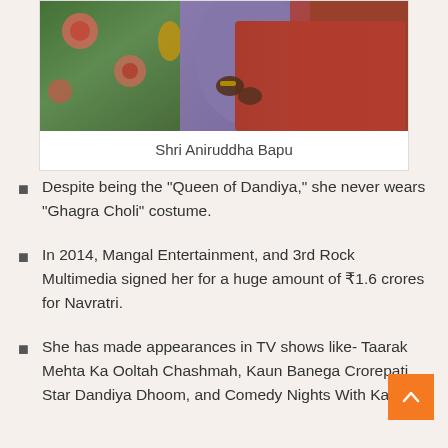[Figure (photo): Photo of Shri Aniruddha Bapu — person in purple/lavender clothing with red fabric visible, colorful decorated background with green and orange patterns]
Shri Aniruddha Bapu
Despite being the “Queen of Dandiya,” she never wears “Ghagra Choli” costume.
In 2014, Mangal Entertainment, and 3rd Rock Multimedia signed her for a huge amount of ₹1.6 crores for Navratri.
She has made appearances in TV shows like- Taarak Mehta Ka Ooltah Chashmah, Kaun Banega Crorepati, Star Dandiya Dhoom, and Comedy Nights With Kapil.